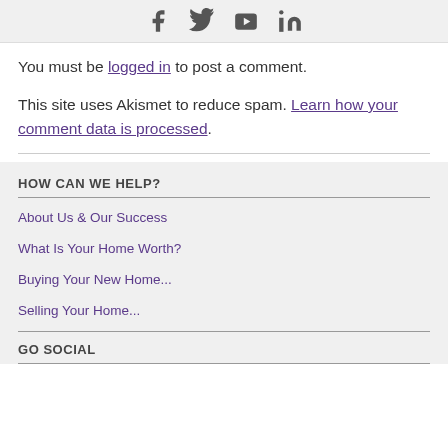Social media icons: Facebook, Twitter, YouTube, LinkedIn
You must be logged in to post a comment.
This site uses Akismet to reduce spam. Learn how your comment data is processed.
HOW CAN WE HELP?
About Us & Our Success
What Is Your Home Worth?
Buying Your New Home...
Selling Your Home...
GO SOCIAL